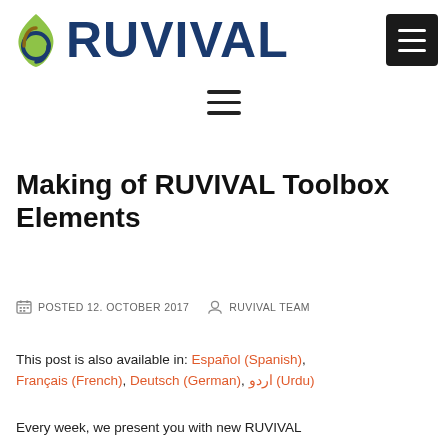[Figure (logo): RUVIVAL logo with leaf/water droplet icon and dark blue bold text 'RUVIVAL', plus a black hamburger menu button in top-right corner]
[Figure (other): Hamburger menu icon (three horizontal lines) centered below the header]
Making of RUVIVAL Toolbox Elements
POSTED 12. OCTOBER 2017   RUVIVAL TEAM
This post is also available in: Español (Spanish), Français (French), Deutsch (German), اردو (Urdu)
Every week, we present you with new RUVIVAL